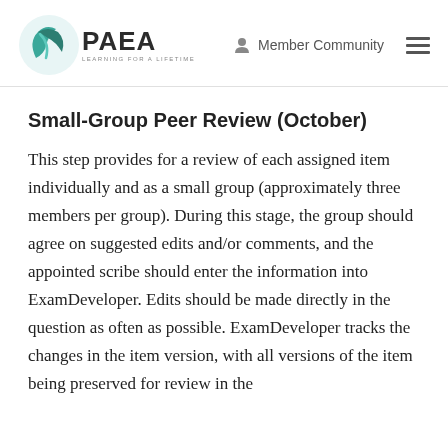PAEA LEARNING FOR A LIFETIME | Member Community
Small-Group Peer Review (October)
This step provides for a review of each assigned item individually and as a small group (approximately three members per group). During this stage, the group should agree on suggested edits and/or comments, and the appointed scribe should enter the information into ExamDeveloper. Edits should be made directly in the question as often as possible. ExamDeveloper tracks the changes in the item version, with all versions of the item being preserved for review in the